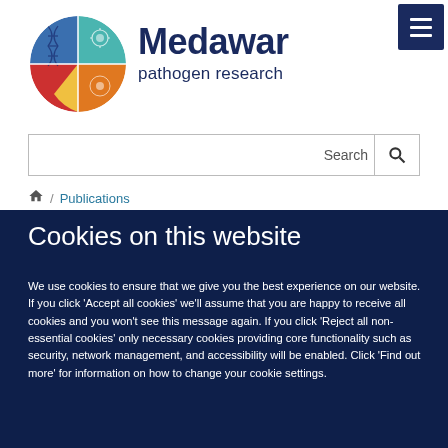[Figure (logo): Medawar pathogen research circular logo with DNA helix, virus, and biological cell segments in blue, teal, yellow, orange, red colors]
Medawar pathogen research
Search
/ Publications
Cookies on this website
We use cookies to ensure that we give you the best experience on our website. If you click 'Accept all cookies' we'll assume that you are happy to receive all cookies and you won't see this message again. If you click 'Reject all non-essential cookies' only necessary cookies providing core functionality such as security, network management, and accessibility will be enabled. Click 'Find out more' for information on how to change your cookie settings.